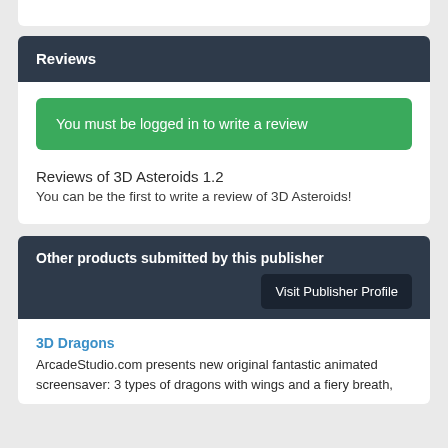Reviews
You must be logged in to write a review
Reviews of 3D Asteroids 1.2
You can be the first to write a review of 3D Asteroids!
Other products submitted by this publisher
Visit Publisher Profile
3D Dragons
ArcadeStudio.com presents new original fantastic animated screensaver: 3 types of dragons with wings and a fiery breath,